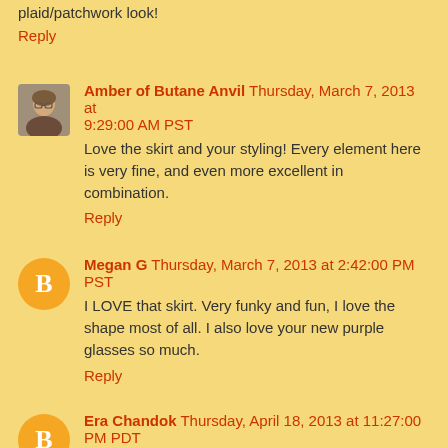plaid/patchwork look!
Reply
Amber of Butane Anvil Thursday, March 7, 2013 at 9:29:00 AM PST
Love the skirt and your styling! Every element here is very fine, and even more excellent in combination.
Reply
Megan G Thursday, March 7, 2013 at 2:42:00 PM PST
I LOVE that skirt. Very funky and fun, I love the shape most of all. I also love your new purple glasses so much.
Reply
Era Chandok Thursday, April 18, 2013 at 11:27:00 PM PDT
The skirt is very pretty!